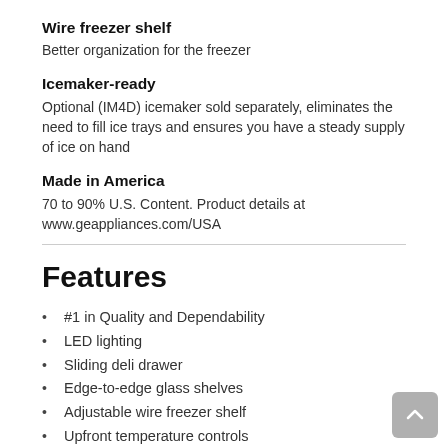Wire freezer shelf
Better organization for the freezer
Icemaker-ready
Optional (IM4D) icemaker sold separately, eliminates the need to fill ice trays and ensures you have a steady supply of ice on hand
Made in America
70 to 90% U.S. Content. Product details at www.geappliances.com/USA
Features
#1 in Quality and Dependability
LED lighting
Sliding deli drawer
Edge-to-edge glass shelves
Adjustable wire freezer shelf
Upfront temperature controls